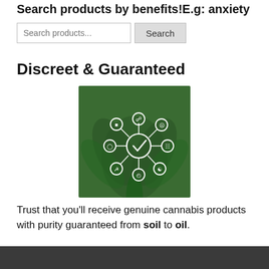Search products by benefits!E.g: anxiety
Search products...
Discreet & Guaranteed
[Figure (photo): Cannabis plant with white circular icons connected by lines overlaid on top, forming a hub-and-spoke diagram. The central circle has a checkmark. Surrounding circles contain various icons representing quality/certification concepts.]
Trust that you'll receive genuine cannabis products with purity guaranteed from soil to oil.